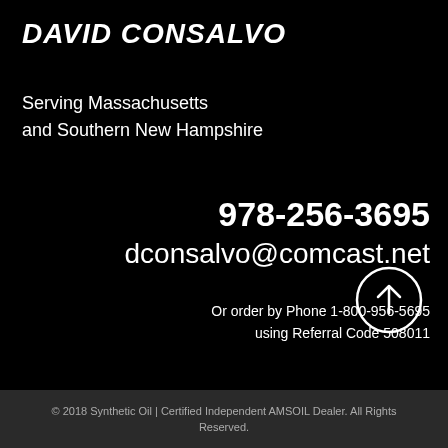DAVID CONSALVO
Serving Massachusetts
and Southern New Hampshire
978-256-3695
dconsalvo@comcast.net
Or order by Phone 1-800-956-5695
using Referral Code 508011
[Figure (illustration): Circle with upward arrow icon]
© 2018 Synthetic Oil | Certified Independent AMSOIL Dealer. All Rights Reserved.